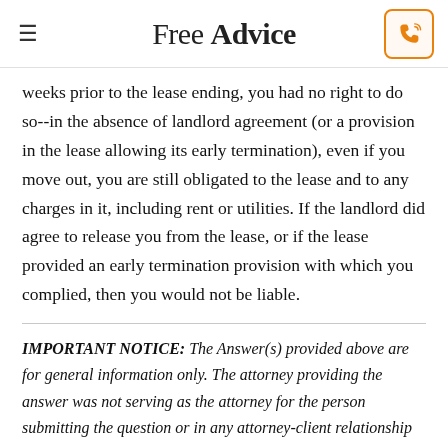Free Advice
weeks prior to the lease ending, you had no right to do so--in the absence of landlord agreement (or a provision in the lease allowing its early termination), even if you move out, you are still obligated to the lease and to any charges in it, including rent or utilities. If the landlord did agree to release you from the lease, or if the lease provided an early termination provision with which you complied, then you would not be liable.
IMPORTANT NOTICE: The Answer(s) provided above are for general information only. The attorney providing the answer was not serving as the attorney for the person submitting the question or in any attorney-client relationship with such person. Laws may vary from state to state, and sometimes change. Tiny